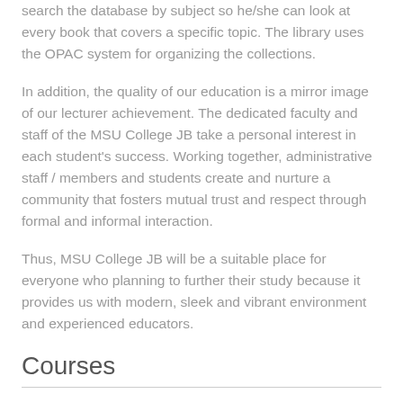search the database by subject so he/she can look at every book that covers a specific topic. The library uses the OPAC system for organizing the collections.
In addition, the quality of our education is a mirror image of our lecturer achievement. The dedicated faculty and staff of the MSU College JB take a personal interest in each student's success. Working together, administrative staff / members and students create and nurture a community that fosters mutual trust and respect through formal and informal interaction.
Thus, MSU College JB will be a suitable place for everyone who planning to further their study because it provides us with modern, sleek and vibrant environment and experienced educators.
Courses